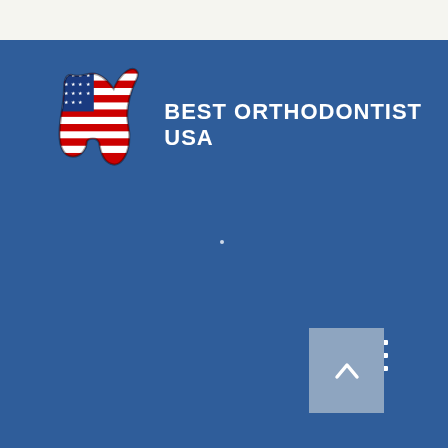[Figure (logo): Best Orthodontist USA logo: an American flag-themed tooth icon on the left, with text 'BEST ORTHODONTIST USA' to the right in white uppercase letters on a dark blue background.]